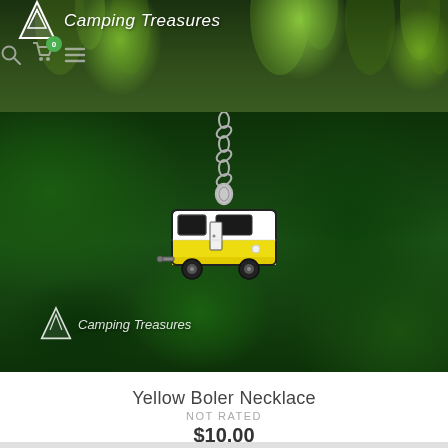Camping Treasures
[Figure (photo): Product photo of a Yellow Boler Necklace — a small enamel camper trailer charm (yellow and white) hanging on a silver chain, photographed against a blurred green leafy background. The Camping Treasures logo watermark appears in the lower left of the photo.]
Yellow Boler Necklace
NOT RATED
$10.00